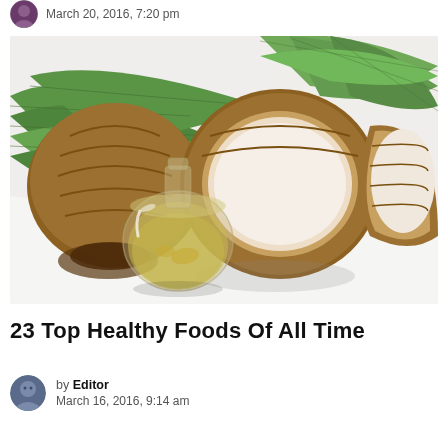March 20, 2016, 7:20 pm
[Figure (photo): Coconuts (whole and halved) with a glass bottle of coconut oil on a white surface with green palm leaves in the background]
23 Top Healthy Foods Of All Time
by Editor
March 16, 2016, 9:14 am